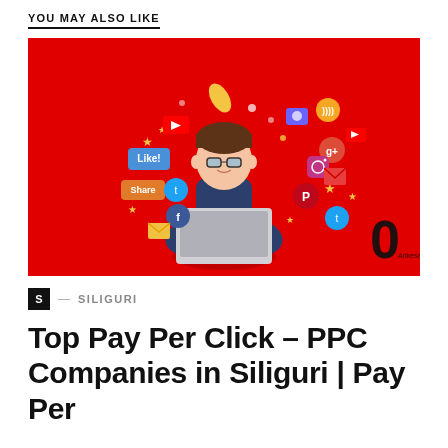YOU MAY ALSO LIKE
[Figure (illustration): Illustration of a person sitting cross-legged with a laptop on a bright red background, surrounded by floating social media icons including Like!, Share, YouTube, Twitter, Facebook, Google+, Instagram, Pinterest, RSS, and other digital icons. A large black '0' and 'Arikesavar' text appear in the bottom right corner.]
S — SILIGURI
Top Pay Per Click – PPC Companies in Siliguri | Pay Per